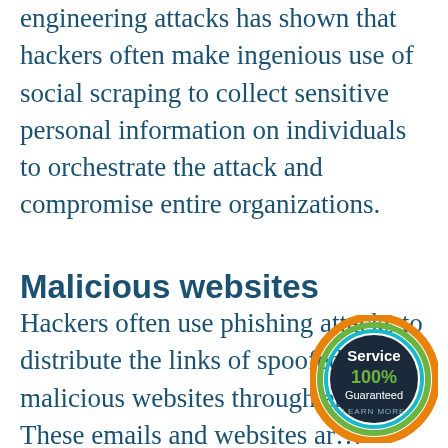engineering attacks has shown that hackers often make ingenious use of social scraping to collect sensitive personal information on individuals to orchestrate the attack and compromise entire organizations.
Malicious websites
Hackers often use phishing attacks to distribute the links of spoofed or malicious websites through em… These emails and websites ar… generally made to look like the legitimate and usually emulate the
[Figure (illustration): A circular badge with dark navy background, orange and green border rings, reading 'Service 100% Guaranteed LEARN MORE' in white and green text.]